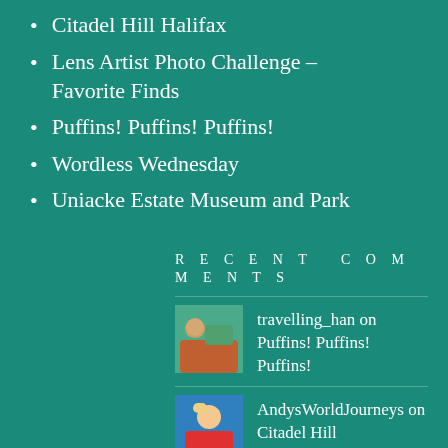Citadel Hill Halifax
Lens Artist Photo Challenge – Favorite Finds
Puffins! Puffins! Puffins!
Wordless Wednesday
Uniacke Estate Museum and Park
RECENT COMMENTS
travelling_han on Puffins! Puffins! Puffins!
AndysWorldJourneys on Citadel Hill Halifax
WanderingCanadians on Puffins! Puffins! Puffins!
WanderingCanadians on Wordless